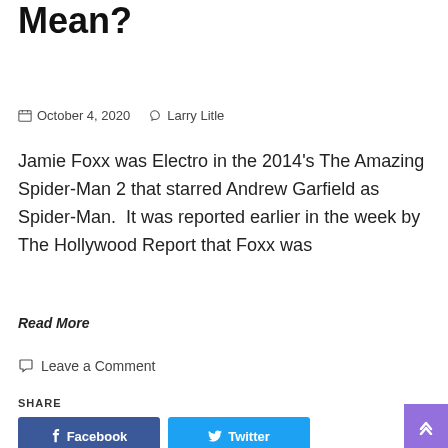Mean?
October 4, 2020   Larry Litle
Jamie Foxx was Electro in the 2014's The Amazing Spider-Man 2 that starred Andrew Garfield as Spider-Man.  It was reported earlier in the week by The Hollywood Report that Foxx was
Read More
Leave a Comment
SHARE
Facebook  Twitter  Pinterest  Linkedin